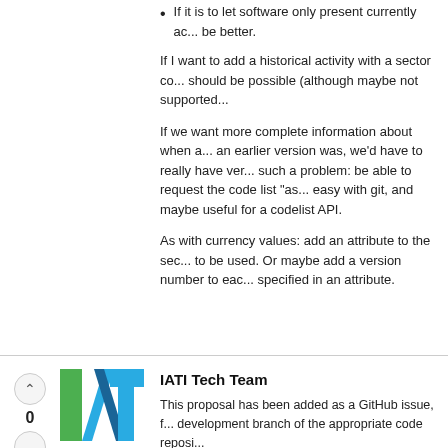If it is to let software only present currently ac... be better.
If I want to add a historical activity with a sector co... should be possible (although maybe not supported...
If we want more complete information about when a... an earlier version was, we'd have to really have ver... such a problem: be able to request the code list "as... easy with git, and maybe useful for a codelist API.
As with currency values: add an attribute to the sec... to be used. Or maybe add a version number to eac... specified in an attribute.
IATI Tech Team
[Figure (logo): IATI logo with green I, blue/teal A and T letters]
This proposal has been added as a GitHub issue, f... development branch of the appropriate code reposi...